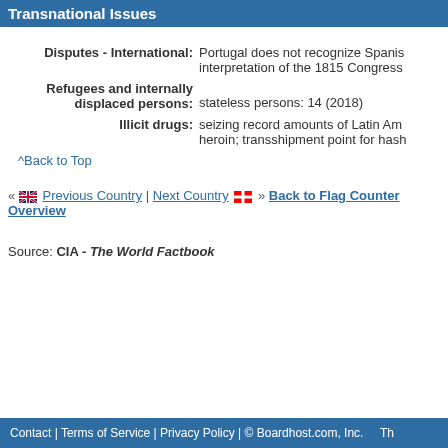Transnational Issues
Disputes - International: Portugal does not recognize Spanish interpretation of the 1815 Congress...
Refugees and internally displaced persons: stateless persons: 14 (2018)
Illicit drugs: seizing record amounts of Latin Am... heroin; transshipment point for hash...
^Back to Top
« Previous Country | Next Country » Back to Flag Counter Overview
Source: CIA - The World Factbook
Contact | Terms of Service | Privacy Policy | © Boardhost.com, Inc.  Th...